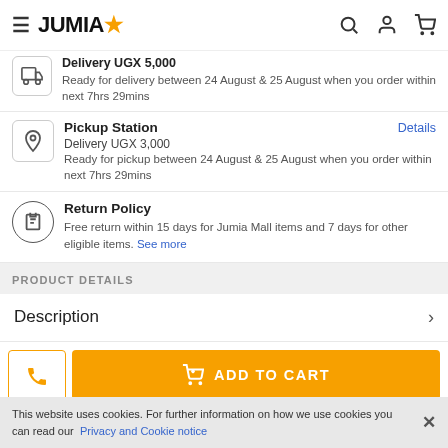JUMIA
Delivery UGX 5,000
Ready for delivery between 24 August & 25 August when you order within next 7hrs 29mins
Pickup Station
Delivery UGX 3,000
Ready for pickup between 24 August & 25 August when you order within next 7hrs 29mins
Return Policy
Free return within 15 days for Jumia Mall items and 7 days for other eligible items. See more
PRODUCT DETAILS
Description
ADD TO CART
This website uses cookies. For further information on how we use cookies you can read our Privacy and Cookie notice